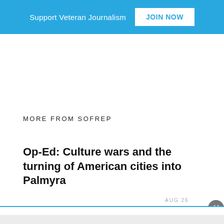Support Veteran Journalism JOIN NOW
MORE FROM SOFREP
Op-Ed: Culture wars and the turning of American cities into Palmyra
AUG 26